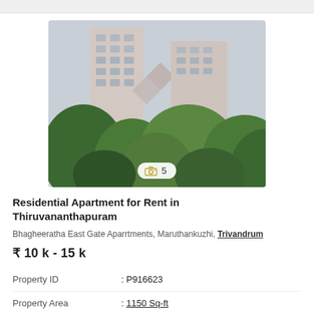[Figure (photo): Exterior photo of a multi-storey residential apartment building with trees in foreground, pale pink/beige facade, cloudy sky background. Badge overlay shows camera icon and '5'.]
Residential Apartment for Rent in Thiruvananthapuram
Bhagheeratha East Gate Aparrtments, Maruthankuzhi, Trivandrum
₹ 10 k - 15 k
| Property ID | : P916623 |
| Property Area | : 1150 Sq-ft |
| Ownership Type | : Single |